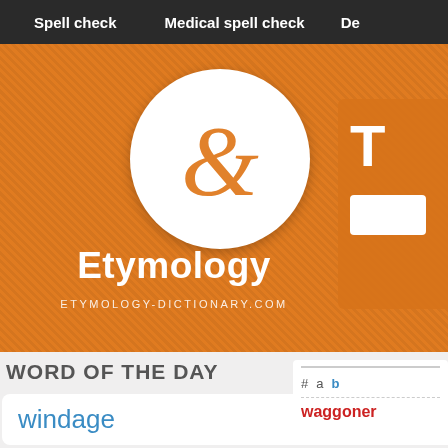Spell check   Medical spell check   De
[Figure (logo): Etymology dictionary logo: orange banner with white circle containing an orange ampersand symbol, white text 'Etymology' and 'ETYMOLOGY-DICTIONARY.COM']
WORD OF THE DAY
windage
# a b
waggoner